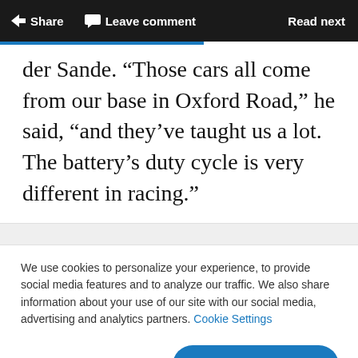Share   Leave comment   Read next
der Sande. “Those cars all come from our base in Oxford Road,” he said, “and they’ve taught us a lot. The battery’s duty cycle is very different in racing.”
We use cookies to personalize your experience, to provide social media features and to analyze our traffic. We also share information about your use of our site with our social media, advertising and analytics partners. Cookie Settings
Accept all cookies